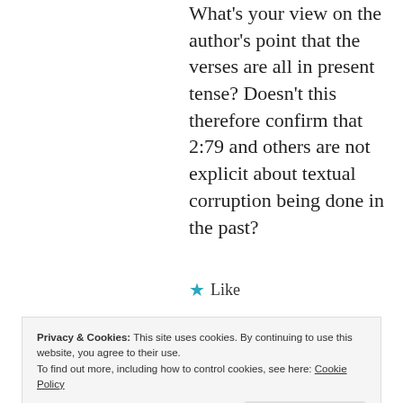What's your view on the author's point that the verses are all in present tense? Doesn't this therefore confirm that 2:79 and others are not explicit about textual corruption being done in the past?
★ Like
[Figure (illustration): Taha user avatar icon — a teal/cyan pixelated mosaic avatar image]
Taha
Privacy & Cookies: This site uses cookies. By continuing to use this website, you agree to their use. To find out more, including how to control cookies, see here: Cookie Policy
Close and accept
baqarah often couches past